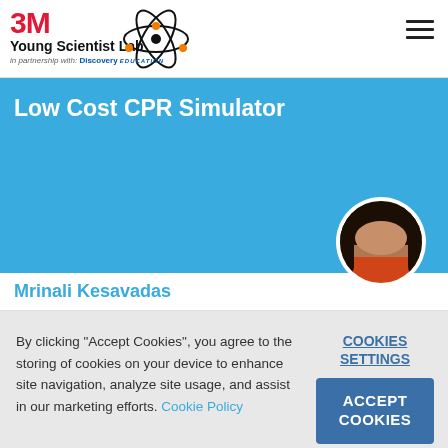3M Young Scientist Lab — in partnership with Discovery Education
[Figure (screenshot): Blue banner with title 'Low Cost CPR Simulator' and circular avatar photo of Mrinali Kesavadas]
Mrinali Kesavadas
By clicking "Accept Cookies", you agree to the storing of cookies on your device to enhance site navigation, analyze site usage, and assist in our marketing efforts. Cookie Policy
COOKIES SETTINGS
ACCEPT COOKIES